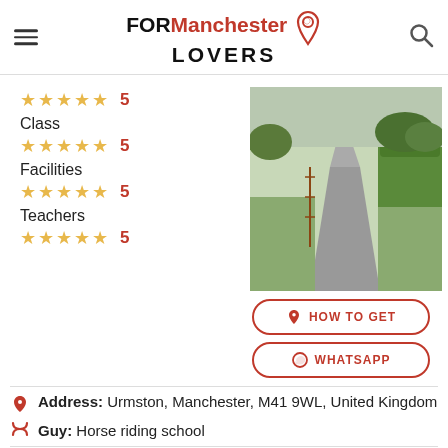FOR Manchester LOVERS
★★★★★ 5
Class ★★★★★ 5
Facilities ★★★★★ 5
Teachers ★★★★★ 5
[Figure (photo): Outdoor path or lane with gravel/tarmac surface, green hedges and trees on the right side, overcast sky]
HOW TO GET
WHATSAPP
Address: Urmston, Manchester, M41 9WL, United Kingdom
Guy: Horse riding school
There are no offers available.
Near Manchester Equestrian Centre, Manchester: